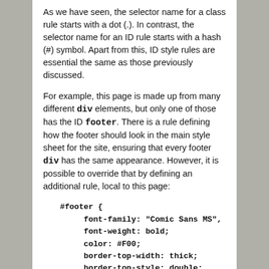As we have seen, the selector name for a class rule starts with a dot (.). In contrast, the selector name for an ID rule starts with a hash (#) symbol. Apart from this, ID style rules are essential the same as those previously discussed.
For example, this page is made up from many different div elements, but only one of those has the ID footer. There is a rule defining how the footer should look in the main style sheet for the site, ensuring that every footer div has the same appearance. However, it is possible to override that by defining an additional rule, local to this page:
#footer {
    font-family: "Comic Sans MS",
    font-weight: bold;
    color: #F00;
    border-top-width: thick;
    border-top-style: double;
    border-top-color: #F00;
}